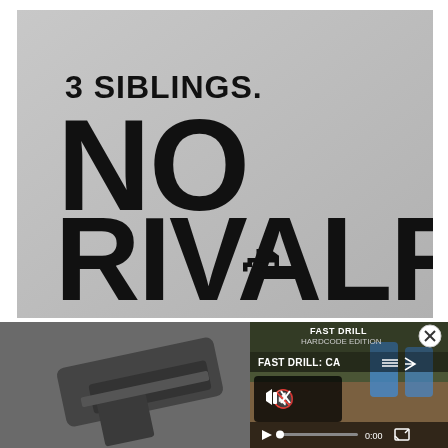[Figure (illustration): Light gray background with bold black text reading '3 SIBLINGS. NO RIVALRY.' with a small pistol silhouette visible in the text. The word 'NO' is in very large bold font, 'RIVALRY.' is similarly large, and '3 SIBLINGS.' is smaller above.]
[Figure (screenshot): A screenshot composite showing a close-up of a pistol on the left and a video player overlay on the right labeled 'FAST DRILL: CA...' with a muted speaker icon, play button, progress bar showing 0:00, fullscreen button, and a close (X) button. The video thumbnail shows a shooting range scene.]